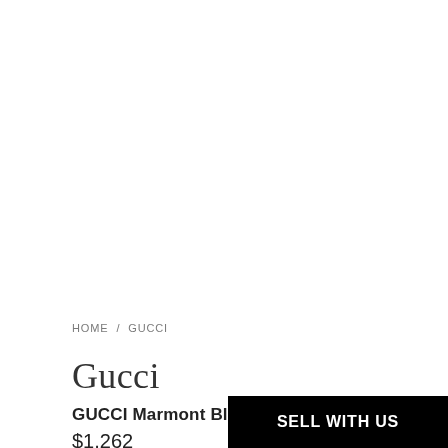HOME / GUCCI
Gucci
GUCCI Marmont Black Matelassé Leather Small
$1,262
SELL WITH US